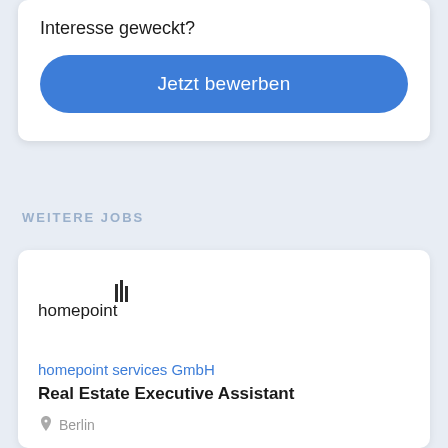Interesse geweckt?
Jetzt bewerben
WEITERE JOBS
homepoint services GmbH
Real Estate Executive Assistant
Berlin